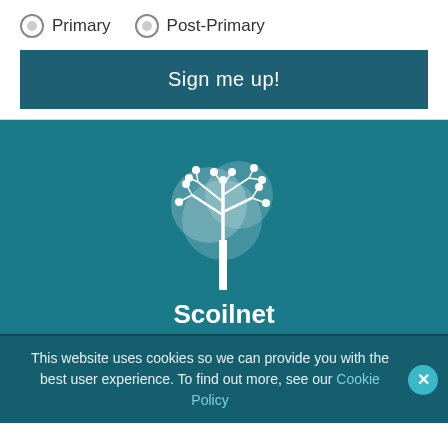Primary
Post-Primary
Sign me up!
[Figure (logo): Scoilnet tree logo — a white stylized bare tree with circular branch nodes on a teal circular background]
Scoilnet
WOW
primarystem
This website uses cookies so we can provide you with the best user experience. To find out more, see our Cookie Policy